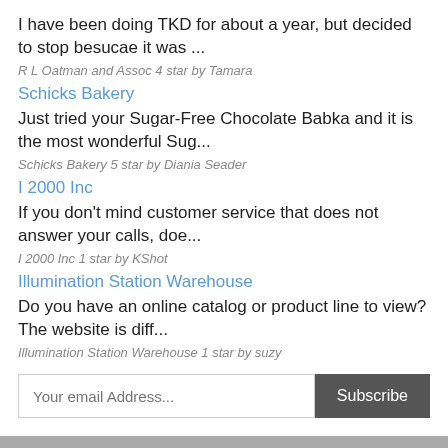I have been doing TKD for about a year, but decided to stop besucae it was ...
R L Oatman and Assoc 4 star by Tamara
Schicks Bakery
Just tried your Sugar-Free Chocolate Babka and it is the most wonderful Sug...
Schicks Bakery 5 star by Diania Seader
I 2000 Inc
If you don't mind customer service that does not answer your calls, doe...
I 2000 Inc 1 star by KShot
Illumination Station Warehouse
Do you have an online catalog or product line to view? The website is diff...
Illumination Station Warehouse 1 star by suzy